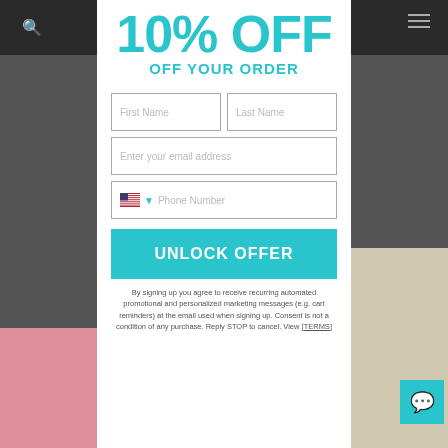10% OFF OFF YOUR ORDER
[Figure (screenshot): Web popup/modal form with headline '10% OFF OFF YOUR ORDER', form fields for First Name, Last Name, email address, phone number with US flag dropdown, an UNLOCK OFFER button, and disclaimer text. Background shows a darkened website with search icon and hamburger menu.]
By signing up you agree to receive recurring automated promotional and personalized marketing messages (e.g. cart reminders) at the email used when signing up. Consent is not a condition of any purchase. Reply STOP to cancel. View [TERMS]